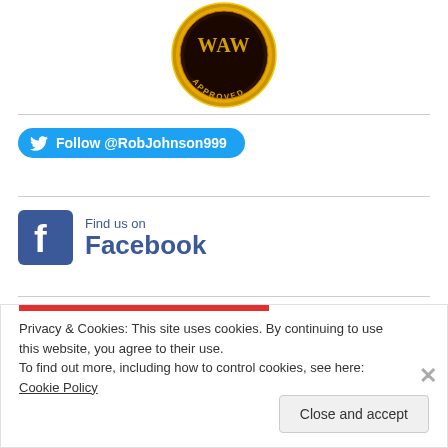[Figure (logo): Gold circular badge/seal with 'APPROVED' text at the bottom and decorative elements]
Follow @RobJohnson999
Find us on Facebook
Privacy & Cookies: This site uses cookies. By continuing to use this website, you agree to their use.
To find out more, including how to control cookies, see here: Cookie Policy
Close and accept